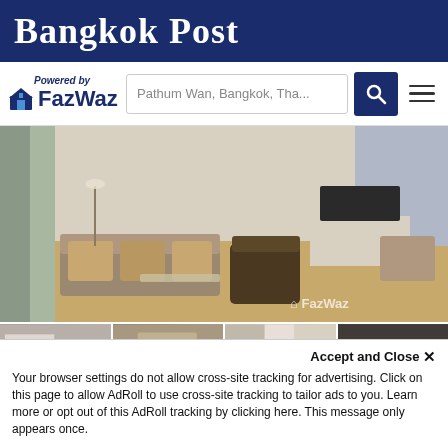Bangkok Post
[Figure (logo): FazWaz powered-by logo with house icon and search bar showing 'Pathum Wan, Bangkok, Tha...']
[Figure (photo): Main photo of a luxury condo living room interior at Sindhorn Residence with sofa, armchairs, coffee table, and hardwood floor. FazWaz watermark bottom right.]
[Figure (photo): Four thumbnail photos of the condo interior including bedroom and hallway views, with 'See All' button on the last thumbnail.]
1 Bedroom Condo for rent at Sindhorn Residence
The downtown condominium is located in the Sindhorn Residence with a land area of 52 rai. The location is surrounded by many amenities, includi...
Accept and Close ✕
Your browser settings do not allow cross-site tracking for advertising. Click on this page to allow AdRoll to use cross-site tracking to tailor ads to you. Learn more or opt out of this AdRoll tracking by clicking here. This message only appears once.